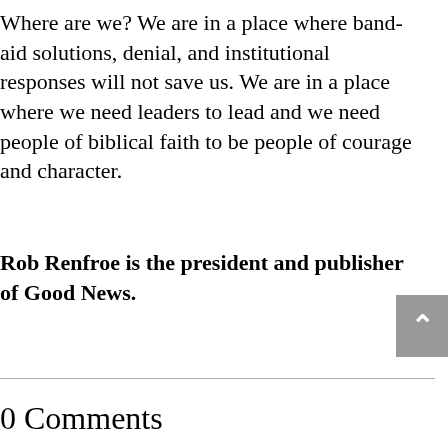Where are we? We are in a place where band-aid solutions, denial, and institutional responses will not save us. We are in a place where we need leaders to lead and we need people of biblical faith to be people of courage and character.
Rob Renfroe is the president and publisher of Good News.
0 Comments